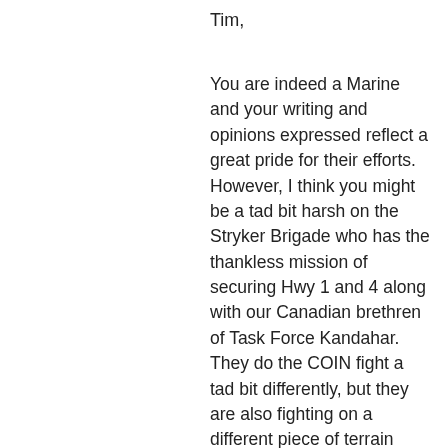Tim,
You are indeed a Marine and your writing and opinions expressed reflect a great pride for their efforts. However, I think you might be a tad bit harsh on the Stryker Brigade who has the thankless mission of securing Hwy 1 and 4 along with our Canadian brethren of Task Force Kandahar. They do the COIN fight a tad bit differently, but they are also fighting on a different piece of terrain than the 2nd MEB. Also, don’t forget the UK troops who were getting hammered as they exited their FOBs this past summer in central and northern Helmand so no one has the “textbook” answer. Even the 2nd MEB took a their share of casualities from IEDs this past summer and unfortunately will continue to as they battle the Taliban for the forseeable future.